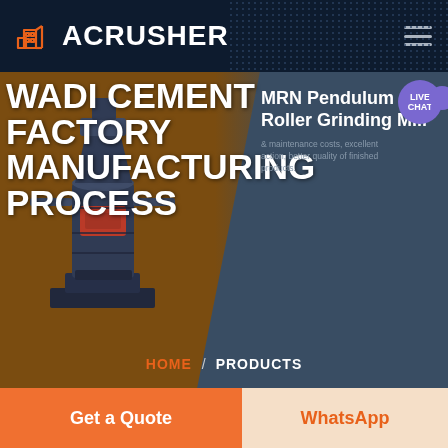ACRUSHER
WADI CEMENT FACTORY MANUFACTURING PROCESS
[Figure (screenshot): Website screenshot showing Acrusher logo with building icon, navigation hamburger menu, hero section with brown and dark blue background, industrial grinding mill machine image, MRN Pendulum Roller Grinding Mill product card, LIVE CHAT bubble, HOME / PRODUCTS breadcrumb, and bottom Get a Quote and WhatsApp buttons]
MRN Pendulum Roller Grinding Mill
& maintenance costs, excellent action, better quality of finished products.
HOME / PRODUCTS
Get a Quote
WhatsApp